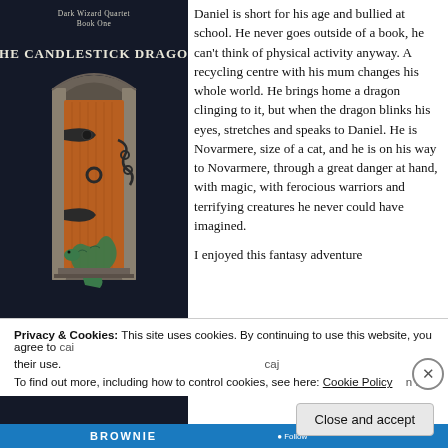[Figure (photo): Book cover of 'The Candlestick Dragon' by Melanie Ifield, subtitled 'Dark Wizard Quartet Book One'. Dark navy/black background with an arched stone doorway containing an orange/red wooden door with iron hinges, and a green dragon at the bottom. White text for title and author name.]
Daniel is short for his age and bullied at school. He never goes outside of a book, he can't think of physical activity anyway. A recycling centre with his mum changes his whole world. He brings home a candlestick with a dragon clinging to it, but when the dragon blinks his eyes, stretches and speaks to Daniel. He is Novarmere, through a great danger at hand, with magic, with ferocious warriors and terrifying creatures he never could have imagined.
I enjoyed this fantasy adventure...
Privacy & Cookies: This site uses cookies. By continuing to use this website, you agree to their use.
To find out more, including how to control cookies, see here: Cookie Policy